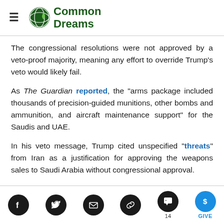Common Dreams
The congressional resolutions were not approved by a veto-proof majority, meaning any effort to override Trump's veto would likely fail.
As The Guardian reported, the "arms package included thousands of precision-guided munitions, other bombs and ammunition, and aircraft maintenance support" for the Saudis and UAE.
In his veto message, Trump cited unspecified "threats" from Iran as a justification for approving the weapons sales to Saudi Arabia without congressional approval.
Social share icons: Facebook, Twitter, Email, Link, Comments (14), Give